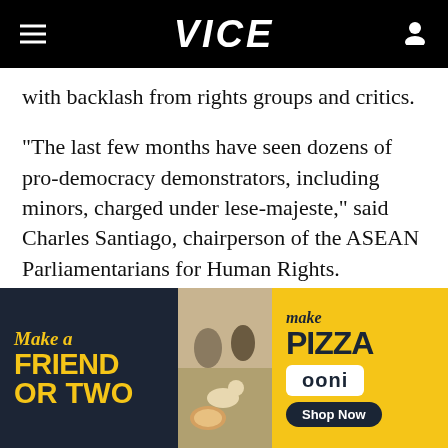VICE
with backlash from rights groups and critics.
“The last few months have seen dozens of pro-democracy demonstrators, including minors, charged under lese-majeste,” said Charles Santiago, chairperson of the ASEAN Parliamentarians for Human Rights.
“The authorities [have indicated] that they are
[Figure (photo): Advertisement banner for Ooni pizza oven: left dark panel with 'Make a Friend or Two' in yellow, center photo of people and dogs at a picnic with pizza, right yellow panel with 'Make Pizza', Ooni logo, and 'Shop Now' button.]